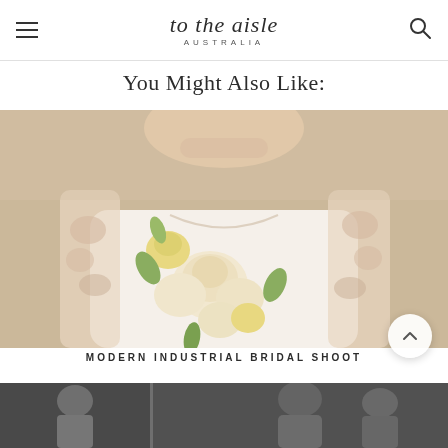to the aisle AUSTRALIA
You Might Also Like:
[Figure (photo): Close-up photo of a bride smiling, wearing a white lace gown with floral appliqués, holding a bridal bouquet with cream and yellow roses and greenery]
MODERN INDUSTRIAL BRIDAL SHOOT
[Figure (photo): Black and white photo partially visible at the bottom of the page, appears to show wedding guests or a wedding party]